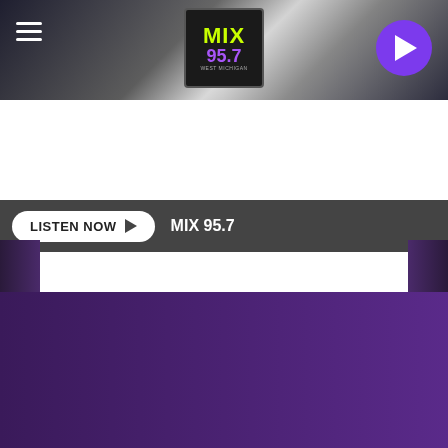[Figure (screenshot): MIX 95.7 radio station website header with logo, hamburger menu, and play button on dark background]
LISTEN NOW  MIX 95.7
Share
Tweet
WEST MICHIGAN
DOWNLOAD THE MIX 95.7 MOBILE APP
GET OUR FREE MOBILE APP
Also listen on:  amazon alexa
Visit Premium Outlets® Leesburg Premium Outlets